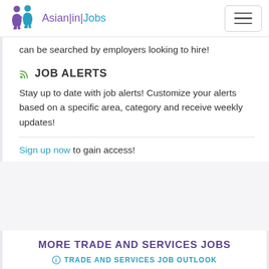[Figure (logo): Asian in Jobs logo with two figures (purple and teal) and text 'Asian|in|Jobs']
can be searched by employers looking to hire!
JOB ALERTS
Stay up to date with job alerts! Customize your alerts based on a specific area, category and receive weekly updates!
Sign up now to gain access!
MORE TRADE AND SERVICES JOBS
TRADE AND SERVICES JOB OUTLOOK